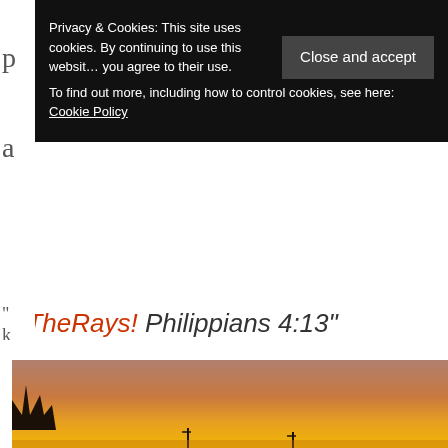Privacy & Cookies: This site uses cookies. By continuing to use this website, you agree to their use. To find out more, including how to control cookies, see here: Cookie Policy
Close and accept
#TheRays! Philippians 4:13"
[Figure (photo): Sunset photo with warm orange/golden sky gradient and dark silhouettes of trees against the horizon]